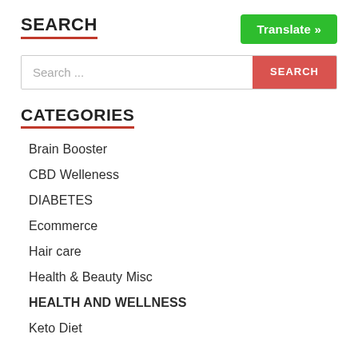SEARCH
[Figure (screenshot): Green Translate button with white text reading 'Translate »']
[Figure (screenshot): Search input box with placeholder text 'Search ...' and a red SEARCH button on the right]
CATEGORIES
Brain Booster
CBD Welleness
DIABETES
Ecommerce
Hair care
Health & Beauty Misc
HEALTH AND WELLNESS
Keto Diet